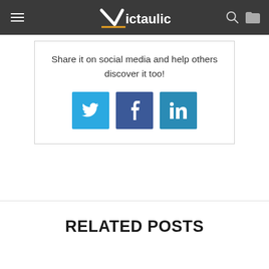Victaulic
Share it on social media and help others discover it too!
[Figure (other): Three social media share buttons: Twitter (blue bird icon), Facebook (dark blue f icon), LinkedIn (light blue in icon)]
RELATED POSTS